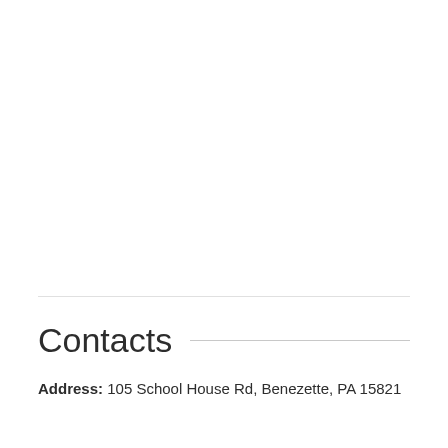Contacts
Address: 105 School House Rd, Benezette, PA 15821